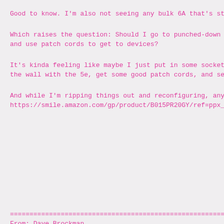Good to know. I'm also not seeing any bulk 6A that's st
Which raises the question: Should I go to punched-down and use patch cords to get to devices?
It's kinda feeling like maybe I just put in some socket the wall with the 5e, get some good patch cords, and se
And while I'm ripping things out and reconfiguring, any https://smile.amazon.com/gp/product/B015PR20GY/ref=ppx_
================================================
From: Dave Brockman
------------------------------------------------
fup 2